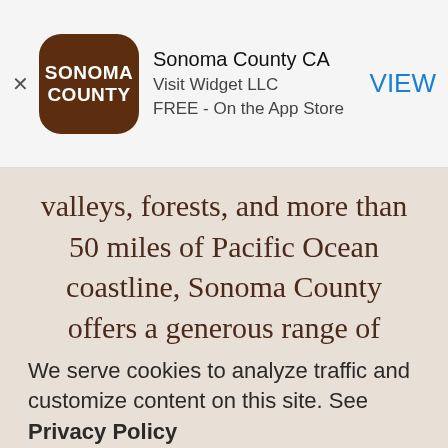[Figure (screenshot): App Store banner ad for 'Sonoma County CA' app by Visit Widget LLC. Shows app icon (brown rounded square with 'SONOMA COUNTY' text), app name, developer, price 'FREE - On the App Store', and a blue 'VIEW' button. An X close button is on the left.]
valleys, forests, and more than 50 miles of Pacific Ocean coastline, Sonoma County offers a generous range of outdoor activities. Among the most popular...
We serve cookies to analyze traffic and customize content on this site. See Privacy Policy